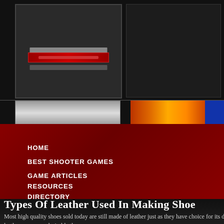[Figure (screenshot): Website banner top area with dark background, left panel showing a dark box with red horizontal bar/logo, right panel dark area, bottom strip with gray left portion and orange/fire gradient right portion with blue accent]
HOME
BEST SHOOTER GAMES
GAME ARTICLES
RESOURCES
DIRECTORY
SITEMAP
[Figure (screenshot): Bottom website banner area with dark panels and red underline bar]
Types Of Leather Used In Making Shoe
Most high quality shoes sold today are still made of leather just as they have choice for its durability and flexibility. Some leathers are more desirable than